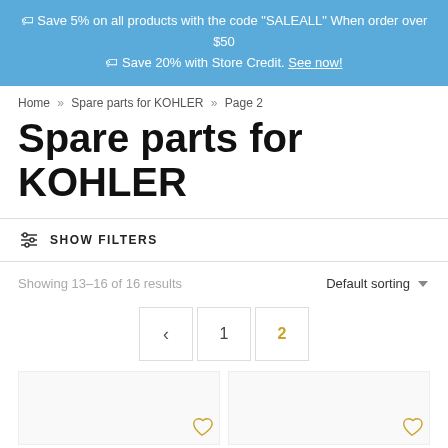🏷 Save 5% on all products with the code "SALEALL" When order over $50
🏷 Save 20% with Store Credit. See now!
Home » Spare parts for KOHLER » Page 2
Spare parts for KOHLER
SHOW FILTERS
Showing 13–16 of 16 results    Default sorting
< 1 2